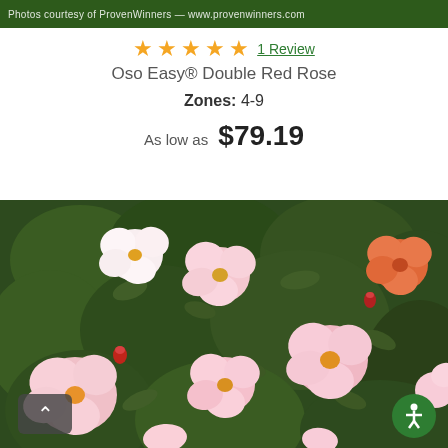Photos courtesy of ProvenWinners — www.provenwinners.com
★★★★★ 1 Review
Oso Easy® Double Red Rose
Zones: 4-9
As low as $79.19
[Figure (photo): A rose bush with multiple blooms in shades of pink, light pink, and red-orange against dark green foliage]